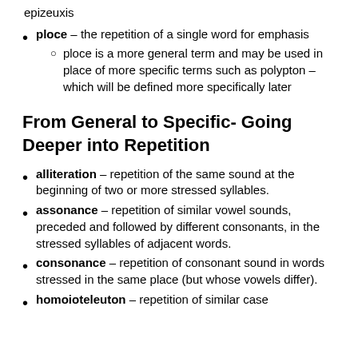epizeuxis
ploce – the repetition of a single word for emphasis
ploce is a more general term and may be used in place of more specific terms such as polypton – which will be defined more specifically later
From General to Specific- Going Deeper into Repetition
alliteration – repetition of the same sound at the beginning of two or more stressed syllables.
assonance – repetition of similar vowel sounds, preceded and followed by different consonants, in the stressed syllables of adjacent words.
consonance – repetition of consonant sound in words stressed in the same place (but whose vowels differ).
homoioteleuton – repetition of similar case...